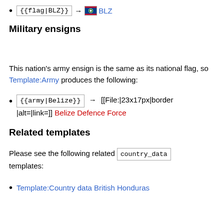{{flag|BLZ}} → BLZ
Military ensigns
This nation's army ensign is the same as its national flag, so Template:Army produces the following:
{{army|Belize}} → [[File:|23x17px|border|alt=|link=]] Belize Defence Force
Related templates
Please see the following related country_data templates:
Template:Country data British Honduras